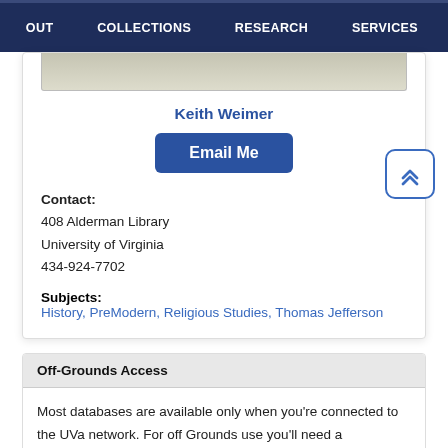OUT  COLLECTIONS  RESEARCH  SERVICES
[Figure (photo): Partial photo/image of Keith Weimer at top of card]
Keith Weimer
Email Me
Contact:
408 Alderman Library
University of Virginia
434-924-7702
Subjects:
History, PreModern, Religious Studies, Thomas Jefferson
Off-Grounds Access
Most databases are available only when you're connected to the UVa network. For off Grounds use you'll need a connection through the proxy